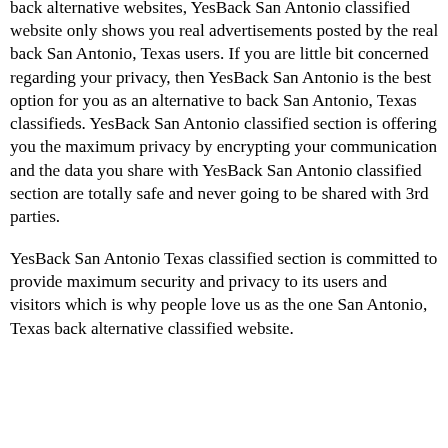back alternative websites, YesBack San Antonio classified website only shows you real advertisements posted by the real back San Antonio, Texas users. If you are little bit concerned regarding your privacy, then YesBack San Antonio is the best option for you as an alternative to back San Antonio, Texas classifieds. YesBack San Antonio classified section is offering you the maximum privacy by encrypting your communication and the data you share with YesBack San Antonio classified section are totally safe and never going to be shared with 3rd parties.
YesBack San Antonio Texas classified section is committed to provide maximum security and privacy to its users and visitors which is why people love us as the one San Antonio, Texas back alternative classified website.